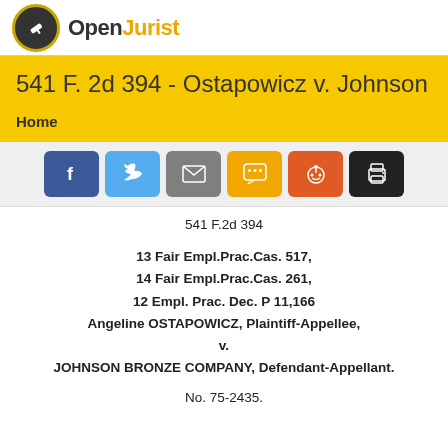OpenJurist
541 F. 2d 394 - Ostapowicz v. Johnson
Home
[Figure (infographic): Social share buttons: Facebook, Twitter, Email, SMS, Reddit, Print]
541 F.2d 394
13 Fair Empl.Prac.Cas. 517,
14 Fair Empl.Prac.Cas. 261,
12 Empl. Prac. Dec. P 11,166
Angeline OSTAPOWICZ, Plaintiff-Appellee,
v.
JOHNSON BRONZE COMPANY, Defendant-Appellant.
No. 75-2435.